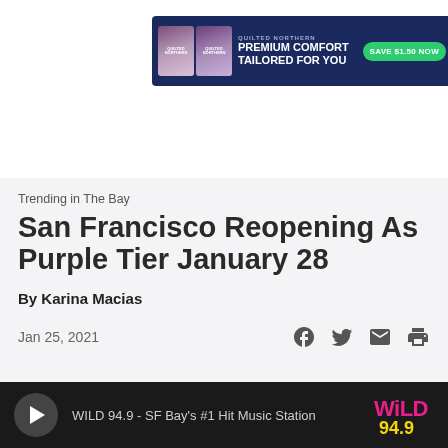[Figure (infographic): Advertisement banner for Quilted Northern toilet paper: 'PREMIUM COMFORT TAILORED FOR YOU' with 'SAVE $1.50 NOW' CTA button on dark blue background]
[Figure (logo): Wild 94.9 radio station logo - WiLD in pink/magenta with 94.9 in yellow, navigation hamburger icon on left and pink Play button on right]
Trending in The Bay
San Francisco Reopening As Purple Tier January 28
By Karina Macias
Jan 25, 2021
[Figure (infographic): Social sharing icons: Facebook, Twitter, Email, Print]
[Figure (infographic): Audio player bar: WILD 94.9 - SF Bay's #1 Hit Music Station with play button and Wild 94.9 logo]